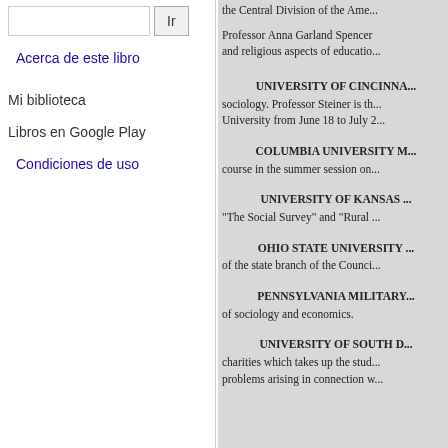Ir
Acerca de este libro
Mi biblioteca
Libros en Google Play
Condiciones de uso
the Central Division of the Ame...
Professor Anna Garland Spencer and religious aspects of educatio...
UNIVERSITY OF CINCINNA... sociology. Professor Steiner is th... University from June 18 to July 2...
COLUMBIA UNIVERSITY M... course in the summer session on...
UNIVERSITY OF KANSAS ... "The Social Survey" and "Rural ...
OHIO STATE UNIVERSITY ... of the state branch of the Counci...
PENNSYLVANIA MILITARY... of sociology and economics.
UNIVERSITY OF SOUTH D... charities which takes up the stud... problems arising in connection w...